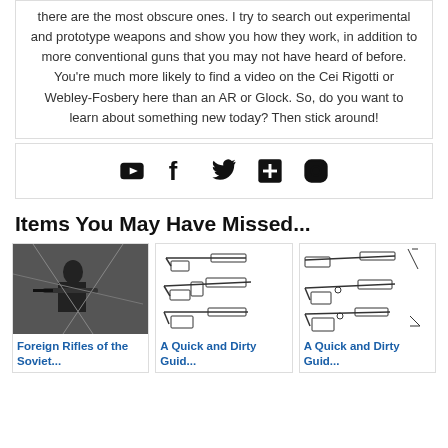there are the most obscure ones. I try to search out experimental and prototype weapons and show you how they work, in addition to more conventional guns that you may not have heard of before. You're much more likely to find a video on the Cei Rigotti or Webley-Fosbery here than an AR or Glock. So, do you want to learn about something new today? Then stick around!
[Figure (other): Social media icons: YouTube, Facebook, Twitter, Google+, Instagram]
Items You May Have Missed...
[Figure (photo): Black and white photo of a person aiming a rifle]
Foreign Rifles of the Sov...
[Figure (illustration): Line drawings of multiple rifles/guns]
A Quick and Dirty Guid...
[Figure (illustration): Line drawings of multiple rifles/guns]
A Quick and Dirty Guid...